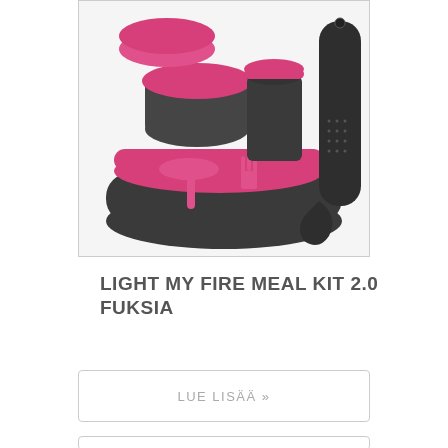[Figure (photo): Product photo of Light My Fire Meal Kit 2.0 in fuchsia/pink and dark gray colors. Shows multiple camping meal components: a large oval container/tray (dark gray), a smaller round container with pink lid, a tall cylindrical cup (dark gray with pink lid), a bowl with pink lid, a spork (pink), and a strainer/grater (dark gray). All items are arranged together in a compact set.]
LIGHT MY FIRE MEAL KIT 2.0 FUKSIA
LUE LISÄÄ »